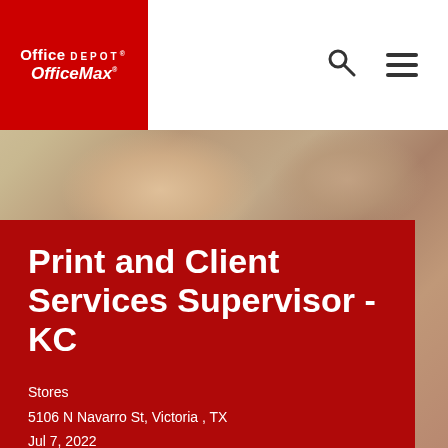[Figure (logo): Office Depot OfficeMax logo in white text on red background]
[Figure (photo): Blurred background photo of people in an office/store setting]
Print and Client Services Supervisor - KC
Stores
5106 N Navarro St, Victoria , TX
Jul 7, 2022
58508